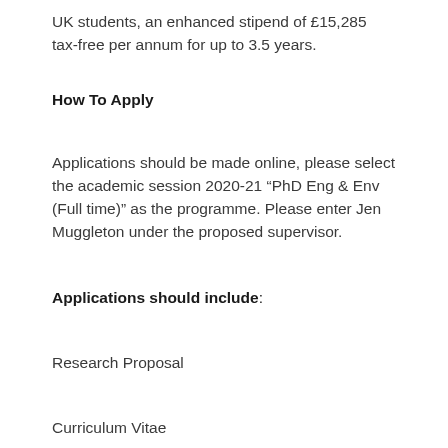UK students, an enhanced stipend of £15,285 tax-free per annum for up to 3.5 years.
How To Apply
Applications should be made online, please select the academic session 2020-21 “PhD Eng & Env (Full time)” as the programme. Please enter Jen Muggleton under the proposed supervisor.
Applications should include:
Research Proposal
Curriculum Vitae